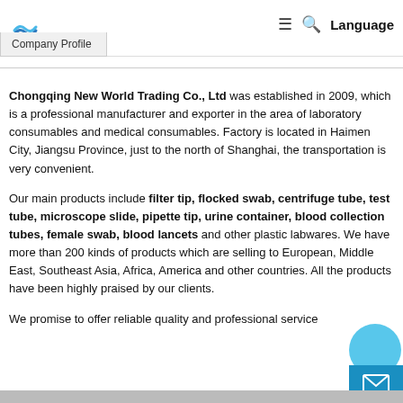Company Profile | Language
Chongqing New World Trading Co., Ltd was established in 2009, which is a professional manufacturer and exporter in the area of laboratory consumables and medical consumables. Factory is located in Haimen City, Jiangsu Province, just to the north of Shanghai, the transportation is very convenient.
Our main products include filter tip, flocked swab, centrifuge tube, test tube, microscope slide, pipette tip, urine container, blood collection tubes, female swab, blood lancets and other plastic labwares. We have more than 200 kinds of products which are selling to European, Middle East, Southeast Asia, Africa, America and other countries. All the products have been highly praised by our clients.
We promise to offer reliable quality and professional service